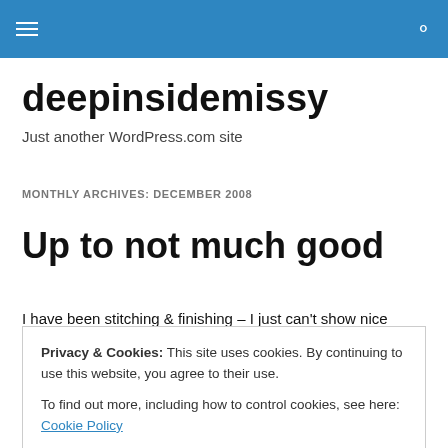deepinsidemissy — navigation header with hamburger menu and search icon
deepinsidemissy
Just another WordPress.com site
MONTHLY ARCHIVES: DECEMBER 2008
Up to not much good
I have been stitching & finishing – I just can't show nice
Privacy & Cookies: This site uses cookies. By continuing to use this website, you agree to their use.
To find out more, including how to control cookies, see here: Cookie Policy
class this morning. I don't think I broke my ankle, but it